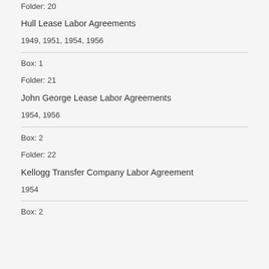Folder: 20
Hull Lease Labor Agreements
1949, 1951, 1954, 1956
Box: 1
Folder: 21
John George Lease Labor Agreements
1954, 1956
Box: 2
Folder: 22
Kellogg Transfer Company Labor Agreement
1954
Box: 2